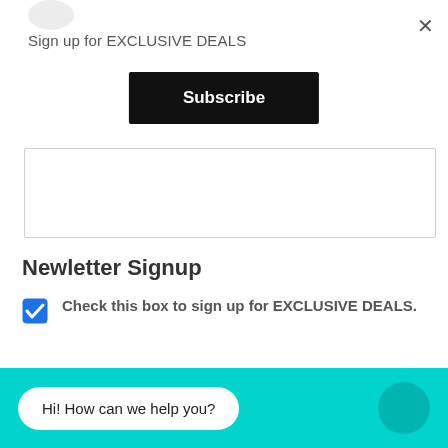×
Sign up for EXCLUSIVE DEALS
Subscribe
Newletter Signup
Check this box to sign up for EXCLUSIVE DEALS.
Hi! How can we help you?